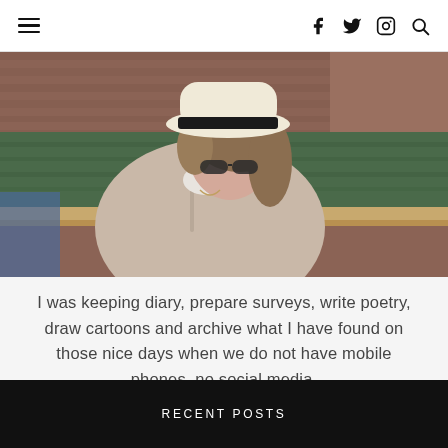≡  [Facebook] [Twitter] [Instagram] [Search]
[Figure (photo): Woman wearing a white fedora hat with black band, sunglasses, and a beige trench coat, sitting near a green canal with a brick wall in the background.]
I was keeping diary, prepare surveys, write poetry, draw cartoons and archive what I have found on those nice days when we do not have mobile phones, no social media.
RECENT POSTS